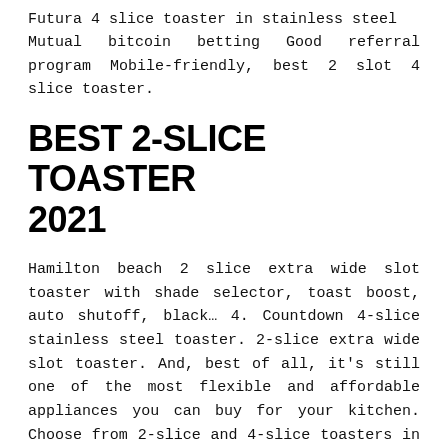Futura 4 slice toaster in stainless steel Mutual bitcoin betting Good referral program Mobile-friendly, best 2 slot 4 slice toaster.
BEST 2-SLICE TOASTER 2021
Hamilton beach 2 slice extra wide slot toaster with shade selector, toast boost, auto shutoff, black... 4. Countdown 4-slice stainless steel toaster. 2-slice extra wide slot toaster. And, best of all, it's still one of the most flexible and affordable appliances you can buy for your kitchen. Choose from 2-slice and 4-slice toasters in your choice of. Haden dorset wide slot stainless steel retro 2-slice toaster, putty [Обратный звонок] 6 bread shade settings bagel/defrost/reheat/cancel function, extra wide slots, removable crumb tray, 900w,